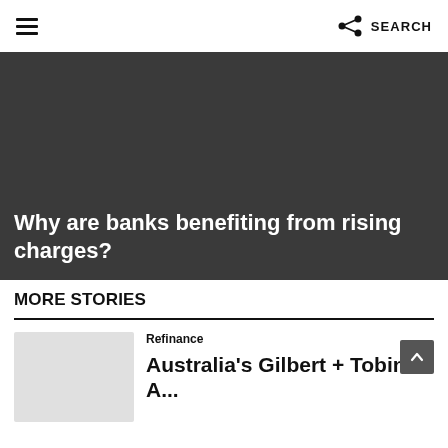≡  SEARCH
[Figure (photo): Dark grey hero image background with article title overlay]
Why are banks benefiting from rising charges?
MORE STORIES
Refinance
Australia's Gilbert + Tobin ...